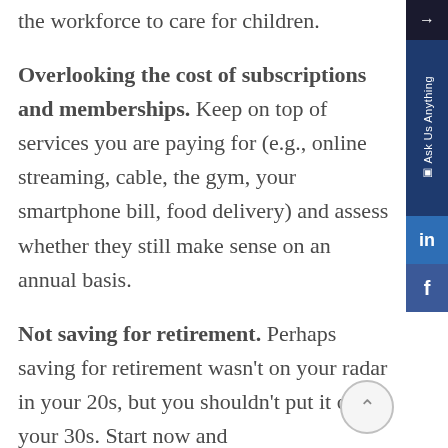the workforce to care for children.
Overlooking the cost of subscriptions and memberships. Keep on top of services you are paying for (e.g., online streaming, cable, the gym, your smartphone bill, food delivery) and assess whether they still make sense on an annual basis.
Not saving for retirement. Perhaps saving for retirement wasn't on your radar in your 20s, but you shouldn't put it off in your 30s. Start now and